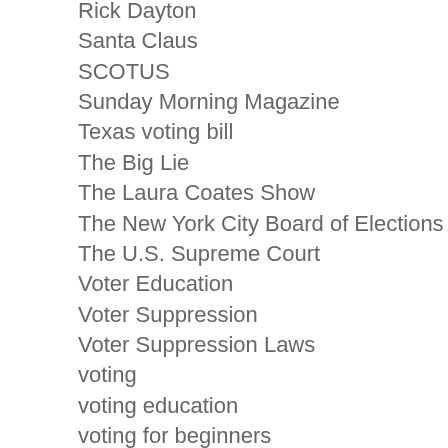Rick Dayton
Santa Claus
SCOTUS
Sunday Morning Magazine
Texas voting bill
The Big Lie
The Laura Coates Show
The New York City Board of Elections
The U.S. Supreme Court
Voter Education
Voter Suppression
Voter Suppression Laws
voting
voting education
voting for beginners
voting news